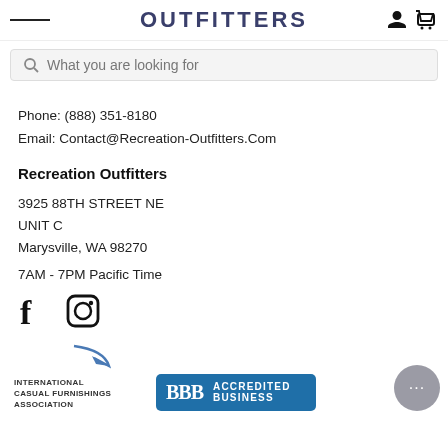OUTFITTERS
What you are looking for
Phone:  (888) 351-8180
Email:  Contact@Recreation-Outfitters.Com
Recreation Outfitters
3925 88TH STREET NE
UNIT  C
Marysville,  WA  98270
7AM - 7PM Pacific  Time
[Figure (illustration): Facebook and Instagram social media icons]
[Figure (logo): International Casual Furnishings Association logo]
[Figure (logo): BBB Accredited Business badge in blue]